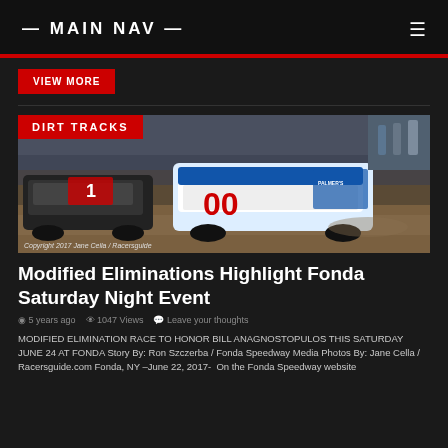— MAIN NAV —
View More
[Figure (photo): Two dirt track modified race cars racing on a dirt track. Car number 00 is prominently shown in white/blue livery. A copyright notice reads: Copyright 2017 Jane Cella / Racersguide]
DIRT TRACKS
Copyright 2017 Jane Cella / Racersguide
Modified Eliminations Highlight Fonda Saturday Night Event
5 years ago   1047 Views   Leave your thoughts
MODIFIED ELIMINATION RACE TO HONOR BILL ANAGNOSTOPULOS THIS SATURDAY JUNE 24 AT FONDA Story By: Ron Szczerba / Fonda Speedway Media Photos By: Jane Cella / Racersguide.com Fonda, NY –June 22, 2017-  On the Fonda Speedway website